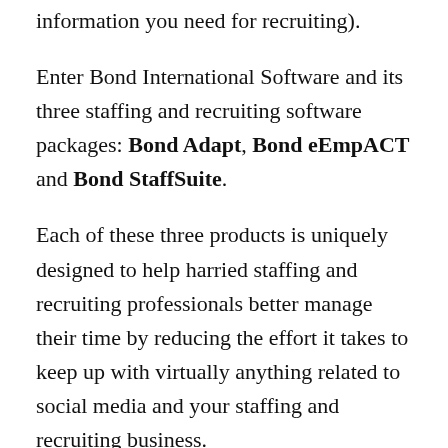information you need for recruiting).
Enter Bond International Software and its three staffing and recruiting software packages: Bond Adapt, Bond eEmpACT and Bond StaffSuite.
Each of these three products is uniquely designed to help harried staffing and recruiting professionals better manage their time by reducing the effort it takes to keep up with virtually anything related to social media and your staffing and recruiting business.
For example, from within Bond software you can record candidates' online profiles on LinkedIn and other social media sites so that you can develop a better understanding of their